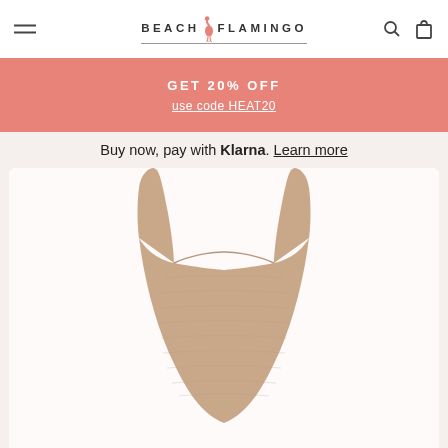Beach Flamingo — navigation header with hamburger menu, logo, search and cart icons
GET 20% OFF
use code HEAT20
Buy now, pay with Klarna. Learn more
[Figure (photo): Beige/tan knit bikini top with wide straps and scoop neckline, shown from front on white background]